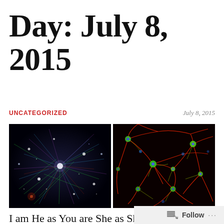Day: July 8, 2015
UNCATEGORIZED
July 8, 2015
[Figure (photo): Two side-by-side images: left shows a colorful network visualization or galaxy-like structure with bright nodes and colored filaments on dark background; right shows fluorescence microscopy of neurons with red and yellow filaments and green/blue cell bodies on black background.]
I am He as You are She as She is Me and We